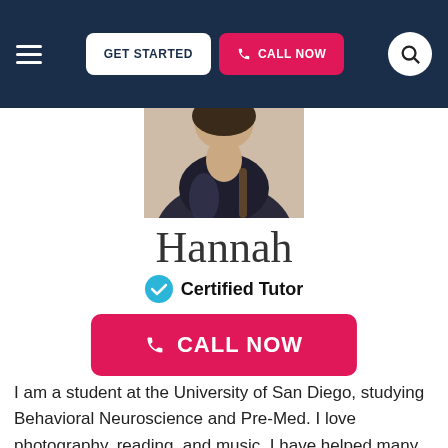GET STARTED | CALL NOW
[Figure (photo): Photo of Hannah, a tutor, wearing a dark coat outdoors]
Hannah
✓ Certified Tutor
CALL NOW
I am a student at the University of San Diego, studying Behavioral Neuroscience and Pre-Med. I love photography, reading, and music. I have helped many people with difficult concepts and homework for a long time, specifically children I babysat or friends in my classes. The subjects I am offering tutoring for